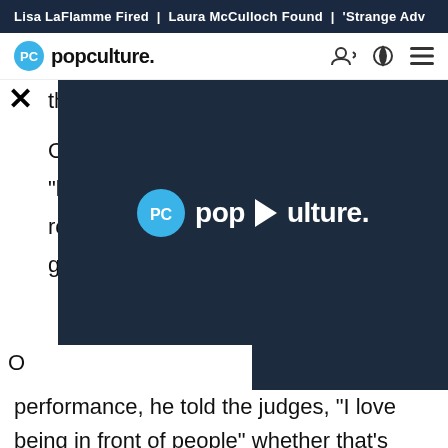Lisa LaFlamme Fired | Laura McCulloch Found | 'Strange Adv
popculture.
[Figure (logo): Popculture.com video player overlay with PC logo and play button]
performance, he told the judges, "I love being in front of people" whether that's "onstage or at home." Ken Jeong guessed that the individual is an athlete